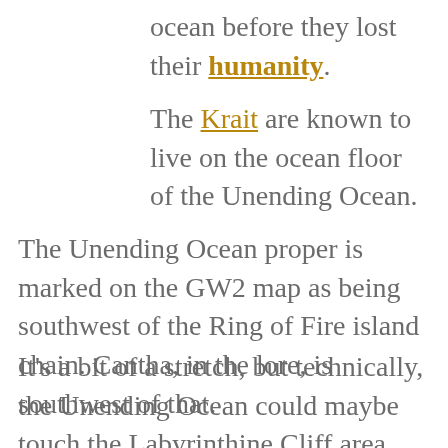ocean before they lost their humanity.
The Krait are known to live on the ocean floor of the Unending Ocean.
The Unending Ocean proper is marked on the GW2 map as being southwest of the Ring of Fire island chain. Cantha, in the lore, is southwest of that.
It’s a bit of a stretch, but technically, the Unending Ocean could maybe touch the Labyrinthine Cliff area since it’s all one big patch of water. The Elon River flows into